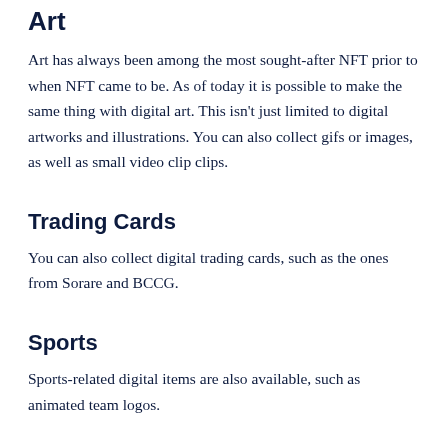Art
Art has always been among the most sought-after NFT prior to when NFT came to be. As of today it is possible to make the same thing with digital art. This isn’t just limited to digital artworks and illustrations. You can also collect gifs or images, as well as small video clip clips.
Trading Cards
You can also collect digital trading cards, such as the ones from Sorare and BCCG.
Sports
Sports-related digital items are also available, such as animated team logos.
Virtual Worlds